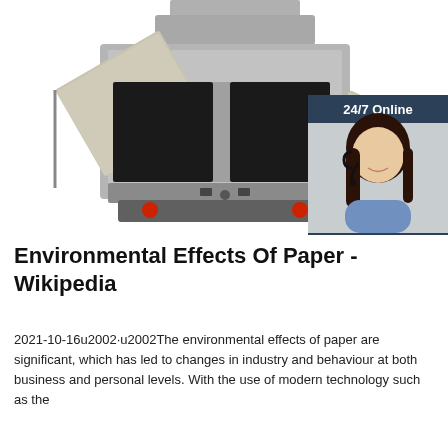[Figure (photo): Industrial machine or equipment (gray metal cabinet/oven with open doors showing dark interior chambers), photographed from front on white background. Overlaid with an advertisement banner showing a woman wearing a headset with '24/7 Online', 'Click here for free chat!', and 'QUOTATION' button.]
Environmental Effects Of Paper - Wikipedia
2021-10-16u2002·u2002The environmental effects of paper are significant, which has led to changes in industry and behaviour at both business and personal levels. With the use of modern technology such as the